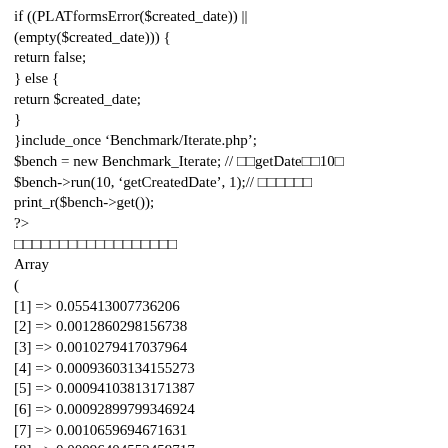if ((PLATformsError($created_date)) ||
(empty($created_date))) {
return false;
} else {
return $created_date;
}
}include_once 'Benchmark/Iterate.php';
$bench = new Benchmark_Iterate; // □□getDate□□10□
$bench->run(10, 'getCreatedDate', 1);// □□□□□□
print_r($bench->get());
?>
□□□□□□□□□□□□□□□□□□
Array
(
[1] => 0.055413007736206
[2] => 0.0012860298156738
[3] => 0.0010279417037964
[4] => 0.00093603134155273
[5] => 0.00094103813171387
[6] => 0.00092899799346924
[7] => 0.0010659694671631
[8] => 0.00096404552459717
[9] => 0.0010690689086914
[10] => 0.00093603134155273
[mean] => 0.0064568161964417
[iterations] => 10